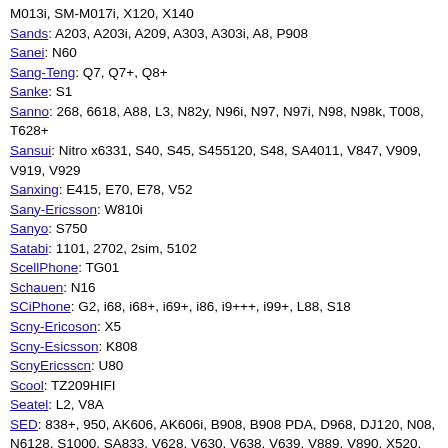M013i, SM-M017i, X120, X140
Sands: A203, A203i, A209, A303, A303i, A8, P908
Sanei: N60
Sang-Teng: Q7, Q7+, Q8+
Sanke: S1
Sanno: 268, 6618, A88, L3, N82y, N96i, N97, N97i, N98, N98k, T008, T628+
Sansui: Nitro x6331, S40, S45, S455120, S48, SA4011, V847, V909, V919, V929
Sanxing: E415, E70, E78, V52
Sany-Ericsson: W810i
Sanyo: S750
Satabi: 1101, 2702, 2sim, 5102
ScellPhone: TG01
Schauen: N16
SCiPhone: G2, i68, i68+, i69+, i86, i9+++, i99+, L88, S18
Scny-Ericoson: X5
Scny-Esicsson: K808
ScnyEricsscn: U80
Scool: TZ209HIFI
Seatel: L2, V8A
SED: 838+, 950, AK606, AK606i, B908, B908 PDA, D968, DJ120, N08, N6128, S1000, SA833, V628, V630, V638, V639, V889, V890, X520, X688, X688 2sim, X689, X689+, X698, X716, X827, X941, Y690
Selecline: S2 2019
Semobi: T1
Sendtel: EV530, Q800
SeniorPhone: 1055
Sentel: 81
Senwa: S340
SerteC: X3
Seven: DR1, DS2, DS3, DS4
SFR: 101, 1080, 111, 114, 115, 116, 118, 121, 122, 123, 132, 151, 195, 227, 228, 228EM, 231, 232, 241, 242, 251, 251 Messenger Edition, 261, 341, 342...